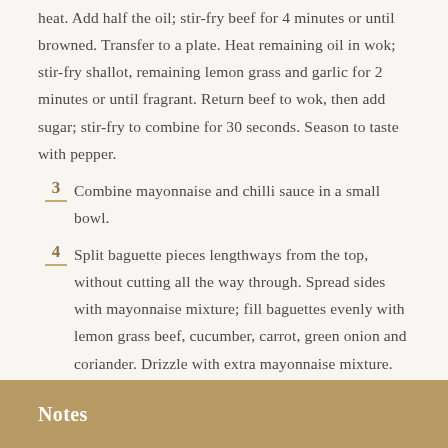heat. Add half the oil; stir-fry beef for 4 minutes or until browned. Transfer to a plate. Heat remaining oil in wok; stir-fry shallot, remaining lemon grass and garlic for 2 minutes or until fragrant. Return beef to wok, then add sugar; stir-fry to combine for 30 seconds. Season to taste with pepper.
3 Combine mayonnaise and chilli sauce in a small bowl.
4 Split baguette pieces lengthways from the top, without cutting all the way through. Spread sides with mayonnaise mixture; fill baguettes evenly with lemon grass beef, cucumber, carrot, green onion and coriander. Drizzle with extra mayonnaise mixture.
Notes